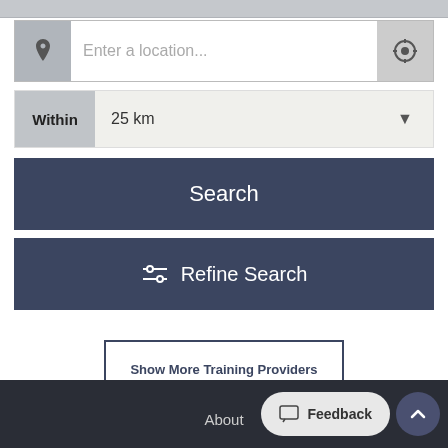[Figure (screenshot): Top grey bar (partial UI element from above)]
Enter a location...
Within  25 km
Search
Refine Search
Show More Training Providers
About  Feedback
About